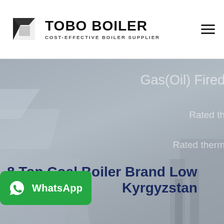[Figure (logo): TOBO BOILER logo with stylized icon and tagline COST-EFFECTIVE BOILER SUPPLIER]
[Figure (photo): Industrial boiler machinery in grey-blue tones with faded text overlay reading Gas(Oil) Fired, Rated th..., Rated therm...]
8 Ton Coal Boiler Brand Low ... Kyrgyzstan
[Figure (illustration): WhatsApp contact button in green with WhatsApp icon and text]